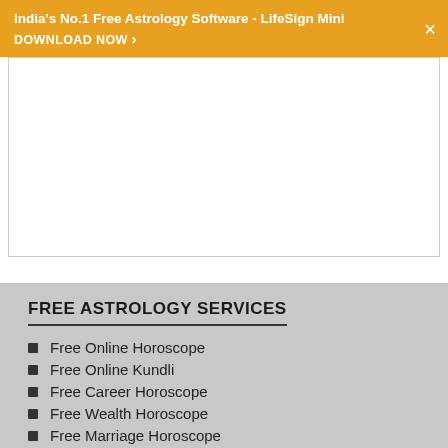India's No.1 Free Astrology Software - LifeSign Mini
DOWNLOAD NOW ›
[Figure (other): White content card area (blank/advertisement placeholder)]
FREE ASTROLOGY SERVICES
Free Online Horoscope
Free Online Kundli
Free Career Horoscope
Free Wealth Horoscope
Free Marriage Horoscope
Free Star Horoscope
Free Chinese Horoscope